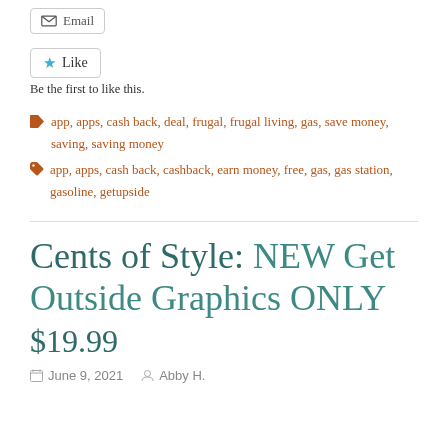[Figure (other): Email button with envelope icon]
[Figure (other): Like button with blue star icon]
Be the first to like this.
app, apps, cash back, deal, frugal, frugal living, gas, save money, saving, saving money
app, apps, cash back, cashback, earn money, free, gas, gas station, gasoline, getupside
Cents of Style: NEW Get Outside Graphics ONLY $19.99
June 9, 2021   Abby H.